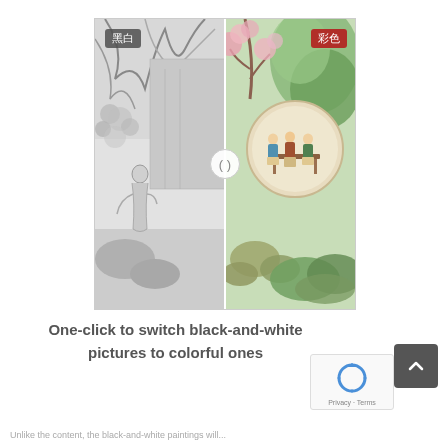[Figure (illustration): Split image comparison showing a Chinese traditional painting: left half in black-and-white (labeled 黑白), right half in color (labeled 彩色). A slider button with '()' icon is at the center divider. The scene depicts figures in a garden courtyard setting with trees and architecture.]
One-click to switch black-and-white pictures to colorful ones